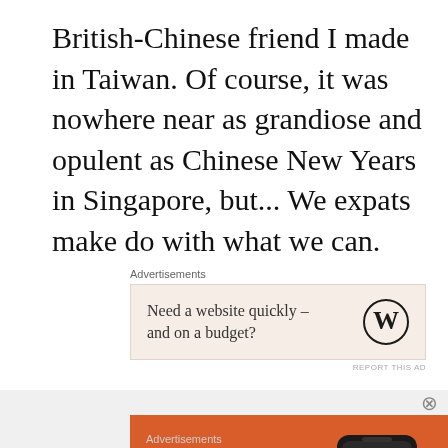British-Chinese friend I made in Taiwan. Of course, it was nowhere near as grandiose and opulent as Chinese New Years in Singapore, but... We expats make do with what we can.
[Figure (infographic): WordPress advertisement banner with beige/tan background showing text 'Need a website quickly – and on a budget?' with WordPress logo on the right]
We went to a palm reader, had our tarot cards read and then ate enough to feed an
[Figure (infographic): DuckDuckGo advertisement with orange background showing 'Search, browse, and email with more privacy. All in One Free App' with phone image and DuckDuckGo branding]